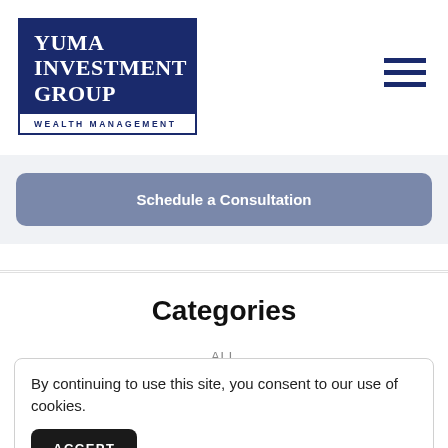[Figure (logo): Yuma Investment Group Wealth Management logo — dark navy rectangle with white serif bold text reading YUMA INVESTMENT GROUP, below which is WEALTH MANAGEMENT in navy spaced capitals on white background]
[Figure (other): Hamburger menu icon — three horizontal navy lines stacked vertically, top right corner]
Schedule a Consultation
Categories
ALL
By continuing to use this site, you consent to our use of cookies.
ACCEPT